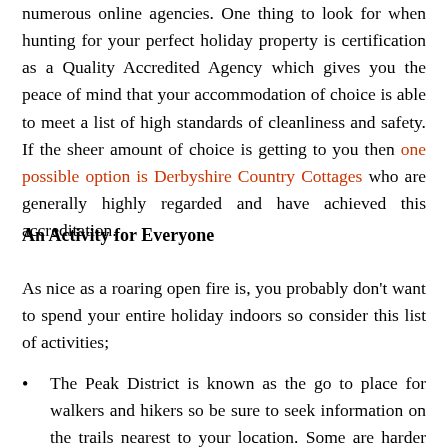numerous online agencies. One thing to look for when hunting for your perfect holiday property is certification as a Quality Accredited Agency which gives you the peace of mind that your accommodation of choice is able to meet a list of high standards of cleanliness and safety. If the sheer amount of choice is getting to you then one possible option is Derbyshire Country Cottages who are generally highly regarded and have achieved this accreditation.
An Activity for Everyone
As nice as a roaring open fire is, you probably don't want to spend your entire holiday indoors so consider this list of activities;
The Peak District is known as the go to place for walkers and hikers so be sure to seek information on the trails nearest to your location. Some are harder than others and